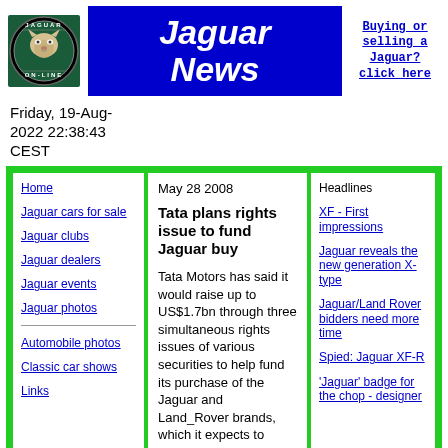[Figure (logo): Jaguar On-Line circular logo with jaguar head on dark green/black background]
Jaguar News
Buying or selling a Jaguar? click here
Friday, 19-Aug-2022 22:38:43 CEST
Home
Jaguar cars for sale
Jaguar clubs
Jaguar dealers
Jaguar events
Jaguar photos
Automobile photos
Classic car shows
Links
May 28 2008
Tata plans rights issue to fund Jaguar buy
Tata Motors has said it would raise up to US$1.7bn through three simultaneous rights issues of various securities to help fund its purchase of the Jaguar and Land_Rover brands, which it expects to close by June.
Headlines
XF - First impressions
Jaguar reveals the new generation X-type
Jaguar/Land Rover bidders need more time
Spied: Jaguar XF-R
'Jaguar' badge for the chop - designer